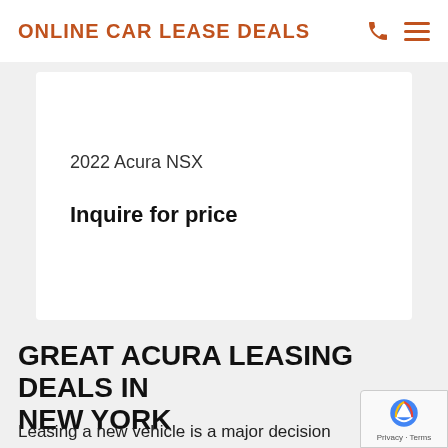ONLINE CAR LEASE DEALS
2022 Acura NSX
Inquire for price
GREAT ACURA LEASING DEALS IN NEW YORK
Leasing a new vehicle is a major decision that